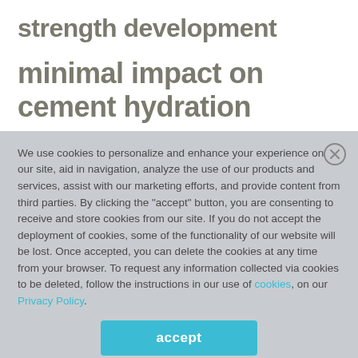strength development
minimal impact on cement hydration
We use cookies to personalize and enhance your experience on our site, aid in navigation, analyze the use of our products and services, assist with our marketing efforts, and provide content from third parties. By clicking the "accept" button, you are consenting to receive and store cookies from our site. If you do not accept the deployment of cookies, some of the functionality of our website will be lost. Once accepted, you can delete the cookies at any time from your browser. To request any information collected via cookies to be deleted, follow the instructions in our use of cookies, on our Privacy Policy.